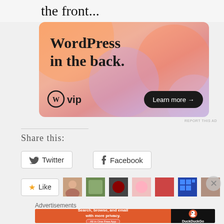the front...
[Figure (illustration): WordPress VIP advertisement banner with colorful gradient background (orange/pink/purple), large text 'WordPress in the back.', WordPress VIP logo bottom left, 'Learn more →' dark pill button bottom right.]
REPORT THIS AD
Share this:
Twitter
Facebook
[Figure (screenshot): Like button and row of user avatar thumbnails]
Advertisements
[Figure (illustration): DuckDuckGo advertisement: orange background with text 'Search, browse, and email with more privacy. All in One Free App', DuckDuckGo logo on dark right panel.]